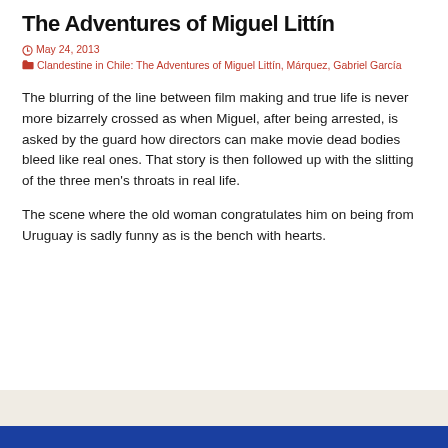The Adventures of Miguel Littín
May 24, 2013   Clandestine in Chile: The Adventures of Miguel Littín, Márquez, Gabriel García
The blurring of the line between film making and true life is never more bizarrely crossed as when Miguel, after being arrested, is asked by the guard how directors can make movie dead bodies bleed like real ones. That story is then followed up with the slitting of the three men's throats in real life.
The scene where the old woman congratulates him on being from Uruguay is sadly funny as is the bench with hearts.